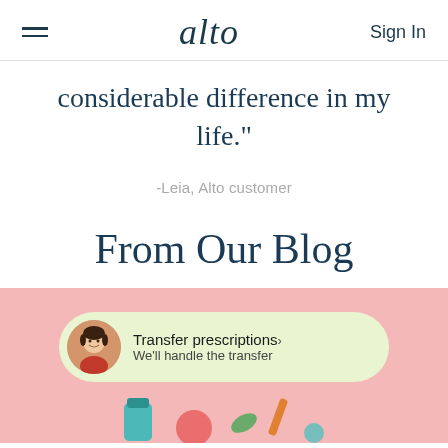alto  Sign In
considerable difference in my life."
-Leia, Alto customer
From Our Blog
[Figure (illustration): Pink background blog card illustration showing a pill-shaped bubble with a woman's avatar photo, text 'Transfer prescriptions We'll handle the transfer', and decorative pharmacy icons below]